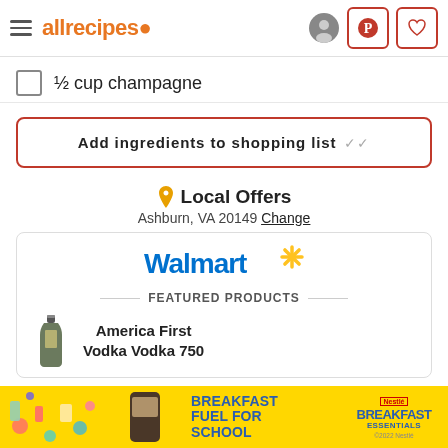allrecipes
½ cup champagne
Add ingredients to shopping list
Local Offers
Ashburn, VA 20149 Change
[Figure (logo): Walmart logo with spark/asterisk icon]
FEATURED PRODUCTS
America First Vodka Vodka 750
[Figure (photo): Advertisement banner: Breakfast Fuel for School - Nestle Breakfast Essentials]